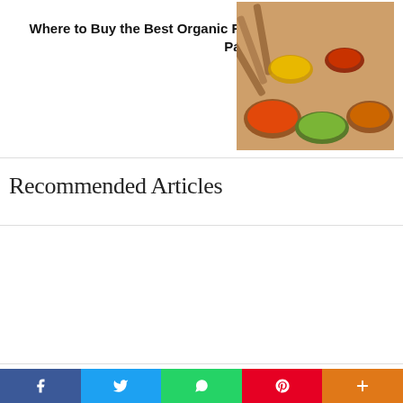NEXT ARTICLE →
Where to Buy the Best Organic Foods in Pakistan?
[Figure (photo): Bowl of colorful spices and organic foods]
Recommended Articles
UPDATED ON AUGUST 27, 2022
ENTERTAINMENT
Top 10 Most Amusing And Entertaining Punjabi Comedy Movies Ever
[Figure (photo): Punjabi comedy movie promotional image with two men in red turbans and text ABI COMEDY MO]
UPDATED ON JANUARY 11, 2022
[Figure (photo): Partially visible photo of a woman]